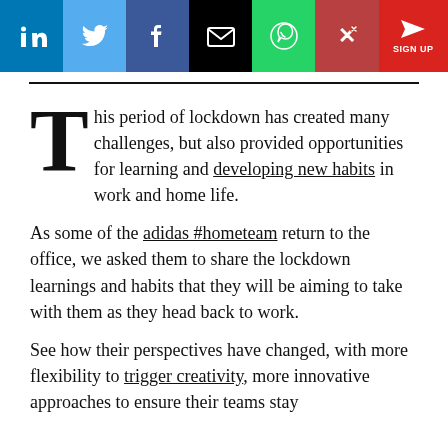[Figure (other): Social media sharing bar with LinkedIn, Twitter, Facebook, Email, WhatsApp, Xing buttons, and a red Sign Up button]
This period of lockdown has created many challenges, but also provided opportunities for learning and developing new habits in work and home life.
As some of the adidas #hometeam return to the office, we asked them to share the lockdown learnings and habits that they will be aiming to take with them as they head back to work.
See how their perspectives have changed, with more flexibility to trigger creativity, more innovative approaches to ensure their teams stay connected, and more mindful shifts in how to set...